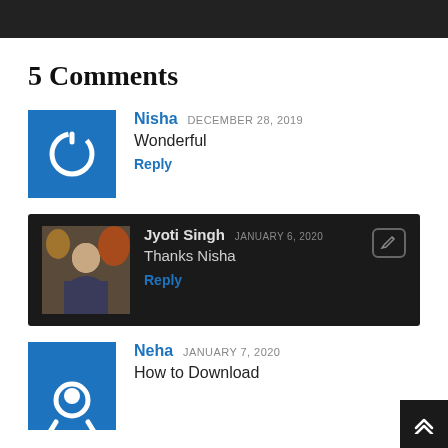5 Comments
Nisha DECEMBER 28, 2019
Wonderful
Reply
[Figure (illustration): Blue square avatar with white power/circle icon]
Jyoti Singh JANUARY 6, 2020
Thanks Nisha
Reply
[Figure (photo): Photo of a man in a dark blue shirt]
Neha JANUARY 7, 2020
How to Download
[Figure (illustration): Blue square avatar with white headphone/person icon (partially visible)]